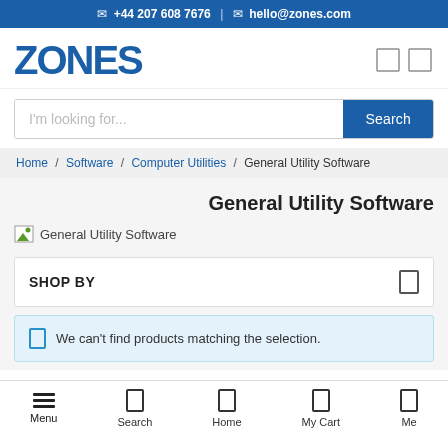+44 207 608 7676 | hello@zones.com
[Figure (logo): ZONES company logo in bold blue text]
I'm looking for...
Home / Software / Computer Utilities / General Utility Software
General Utility Software
[Figure (illustration): Broken/placeholder image icon labeled General Utility Software]
SHOP BY
We can't find products matching the selection.
Menu Search Home My Cart Me